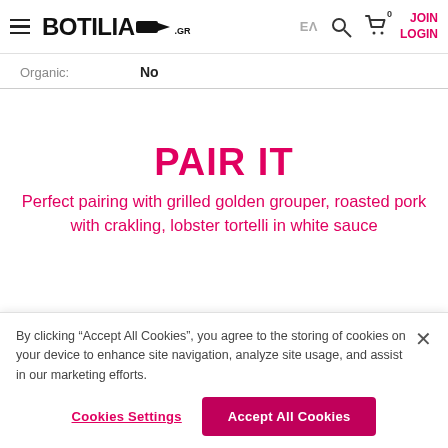BOTILIA.GR | ΕΛ | 0 | JOIN LOGIN
| Organic: | No |
| --- | --- |
PAIR IT
Perfect pairing with grilled golden grouper, roasted pork with crakling, lobster tortelli in white sauce
By clicking "Accept All Cookies", you agree to the storing of cookies on your device to enhance site navigation, analyze site usage, and assist in our marketing efforts.
Cookies Settings | Accept All Cookies